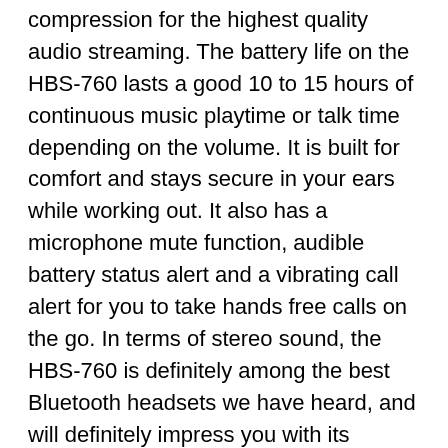compression for the highest quality audio streaming. The battery life on the HBS-760 lasts a good 10 to 15 hours of continuous music playtime or talk time depending on the volume. It is built for comfort and stays secure in your ears while working out. It also has a microphone mute function, audible battery status alert and a vibrating call alert for you to take hands free calls on the go. In terms of stereo sound, the HBS-760 is definitely among the best Bluetooth headsets we have heard, and will definitely impress you with its superb sound performance.
As mentioned above, the HBS-760 is a vast improvement in terms of sound performance over its predecessor the HSB-730. The 760s provided a rich, fuller and much more detailed sound with a dynamic frequency range that makes listening to music through this headset a very enjoyable experience. Vocal performances sounded rich and clear, and you can also hear subtle details in your music which you may